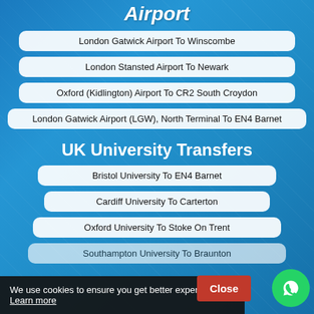Airport
London Gatwick Airport To Winscombe
London Stansted Airport To Newark
Oxford (Kidlington) Airport To CR2 South Croydon
London Gatwick Airport (LGW), North Terminal To EN4 Barnet
UK University Transfers
Bristol University To EN4 Barnet
Cardiff University To Carterton
Oxford University To Stoke On Trent
Southampton University To Braunton
We use cookies to ensure you get better experience Learn more
Close